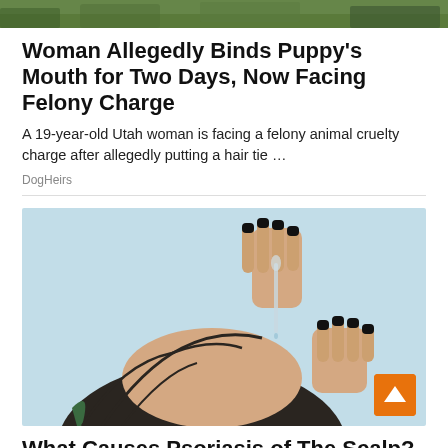[Figure (photo): Top portion of an outdoor nature/green background photo, cropped to a thin strip at the top of the page.]
Woman Allegedly Binds Puppy's Mouth for Two Days, Now Facing Felony Charge
A 19-year-old Utah woman is facing a felony animal cruelty charge after allegedly putting a hair tie …
DogHeirs
[Figure (photo): A woman with dark hair and black painted nails applying a serum or liquid from a dropper to her scalp, on a light blue background.]
What Causes Psoriasis of The Scalp? It's Most Likely Not What People Think